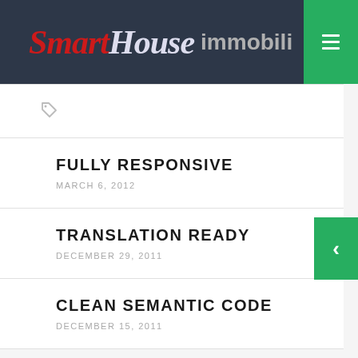SmartHouse immobili
[Figure (other): Price tag icon in light gray]
FULLY RESPONSIVE
MARCH 6, 2012
TRANSLATION READY
DECEMBER 29, 2011
CLEAN SEMANTIC CODE
DECEMBER 15, 2011